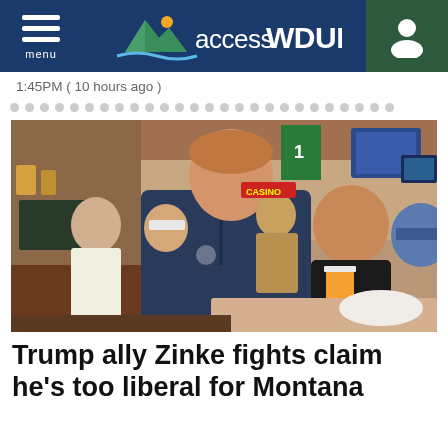accessWDUN (menu / user icon)
1:45PM (10 hours ago)
[Figure (other): Carousel dot pagination indicator row]
[Figure (photo): Photo of a man in a dark blue zip-up fleece jacket socializing with people at a bar/restaurant. Another man in a black shirt is smiling and holding a drink. Various sports memorabilia and TV screens are visible in the background.]
Trump ally Zinke fights claim he's too liberal for Montana